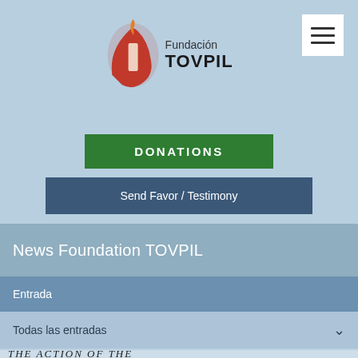[Figure (logo): Fundación TOVPIL logo with red candle/torch icon and text 'Fundación TOVPIL']
DONATIONS
Send Favor / Testimony
News Foundation TOVPIL
Entrada
Todas las entradas
THE ACTION OF THE